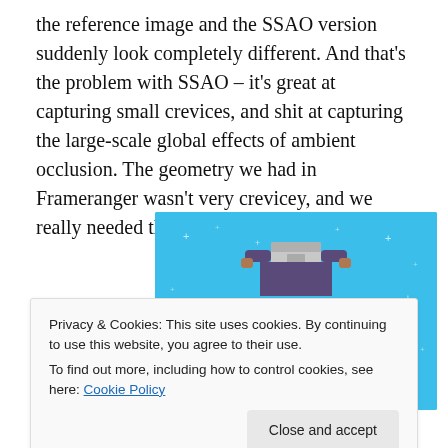the reference image and the SSAO version suddenly look completely different. And that's the problem with SSAO – it's great at capturing small crevices, and shit at capturing the large-scale global effects of ambient occlusion. The geometry we had in Frameranger wasn't very crevicey, and we really needed those large-scale effects.
[Figure (illustration): Day One journaling app advertisement. Light blue background with star/cross decorations, a figure holding a box at the top, text 'DAY ONE' in spaced letters and tagline 'The only journaling app you'll ever need.']
Privacy & Cookies: This site uses cookies. By continuing to use this website, you agree to their use.
To find out more, including how to control cookies, see here: Cookie Policy